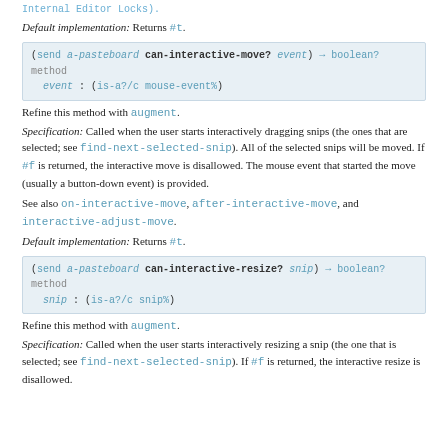Internal Editor Locks).
Default implementation: Returns #t.
(send a-pasteboard can-interactive-move? event) → boolean? method
  event : (is-a?/c mouse-event%)
Refine this method with augment.
Specification: Called when the user starts interactively dragging snips (the ones that are selected; see find-next-selected-snip). All of the selected snips will be moved. If #f is returned, the interactive move is disallowed. The mouse event that started the move (usually a button-down event) is provided.
See also on-interactive-move, after-interactive-move, and interactive-adjust-move.
Default implementation: Returns #t.
(send a-pasteboard can-interactive-resize? snip) → boolean? method
  snip : (is-a?/c snip%)
Refine this method with augment.
Specification: Called when the user starts interactively resizing a snip (the one that is selected; see find-next-selected-snip). If #f is returned, the interactive resize is disallowed.